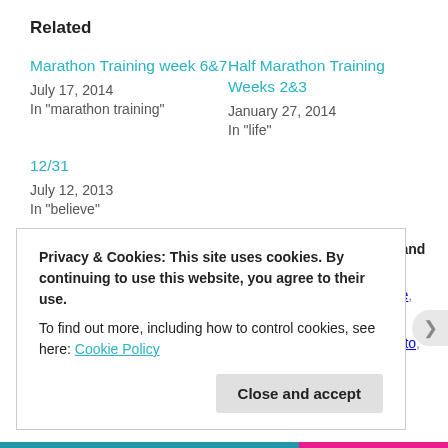Related
Marathon Training week 6&7
July 17, 2014
In "marathon training"
Half Marathon Training Weeks 2&3
January 27, 2014
In "life"
12/31
July 12, 2013
In "believe"
This entry was posted in Goals2015, running, trailrunning and tagged believe, blessed, challenge, doubt, Fear, goal, inspiration, life, love, Motivation, nervous, proud, pushing, Running, support, suunto, Trail
Privacy & Cookies: This site uses cookies. By continuing to use this website, you agree to their use.
To find out more, including how to control cookies, see here: Cookie Policy
Close and accept